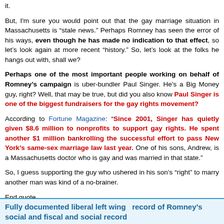it.
But, I'm sure you would point out that the gay marriage situation in Massachusetts is "stale news." Perhaps Romney has seen the error of his ways, even though he has made no indication to that effect, so let's look again at more recent "history." So, let's look at the folks he hangs out with, shall we?
Perhaps one of the most important people working on behalf of Romney's campaign is uber-bundler Paul Singer. He's a Big Money guy, right? Well, that may be true, but did you also know Paul Singer is one of the biggest fundraisers for the gay rights movement?
According to Fortune Magazine: "Since 2001, Singer has quietly given $8.6 million to nonprofits to support gay rights. He spent another $1 million bankrolling the successful effort to pass New York's same-sex marriage law last year. One of his sons, Andrew, is a Massachusetts doctor who is gay and was married in that state."
So, I guess supporting the guy who ushered in his son's "right" to marry another man was kind of a no-brainer.
End quote.
Fully documented liberal left wing  record of Romney's social and fiscal and social record